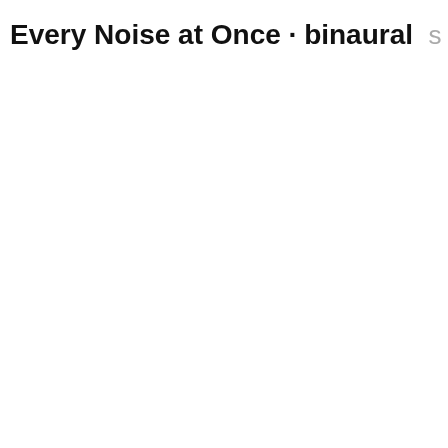Every Noise at Once · binaural  s